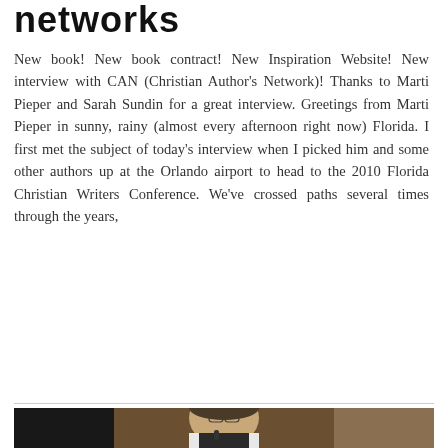networks
New book! New book contract! New Inspiration Website! New interview with CAN (Christian Author's Network)! Thanks to Marti Pieper and Sarah Sundin for a great interview. Greetings from Marti Pieper in sunny, rainy (almost every afternoon right now) Florida. I first met the subject of today's interview when I picked him and some other authors up at the Orlando airport to head to the 2010 Florida Christian Writers Conference. We've crossed paths several times through the years,
[Figure (photo): A man wearing glasses and a suit speaking into a microphone, in front of a floral patterned background. Black and white / sepia-toned photograph.]